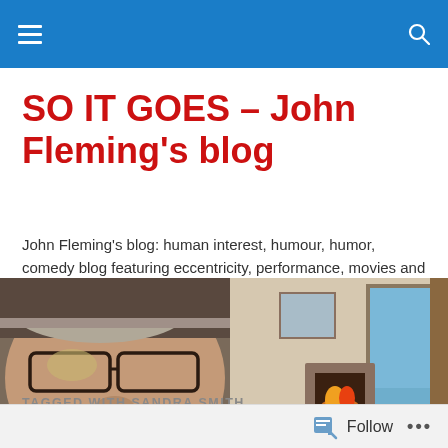SO IT GOES – John Fleming's blog [navigation bar]
SO IT GOES – John Fleming's blog
John Fleming's blog: human interest, humour, humor, comedy blog featuring eccentricity, performance, movies and occasionally a few tears
[Figure (photo): Split image: left side shows a close-up of an older man with glasses and grey hair; right side shows a surrealist painting of a figure reading by a fireplace in a flooded room with an ocean view through a doorway.]
TAGGED WITH SANDRA SMITH
Follow